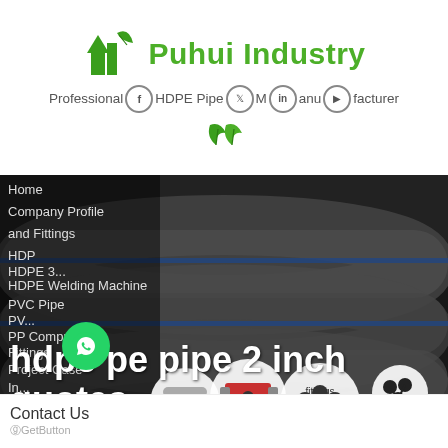[Figure (logo): Puhui Industry logo with green plant/building icon and green text 'Puhui Industry', tagline 'Professional HDPE Pipe Manufacturer', social media icons (Facebook, Twitter, LinkedIn, YouTube), leaf graphic]
[Figure (photo): Dark background banner showing large grey HDPE pipes stacked outdoors, with circular product photos showing various HDPE fittings, pipe bundles, welding machines, and compression fittings]
hdpe pe pipe 2 inch quotes
Home
Company Profile
and Fittings
HDP...
HDPE 3...
HDPE Welding Machine
PVC Pipe
PV...
PP Compression
Fittings
Project Case
In...
Contact Us
GetButton